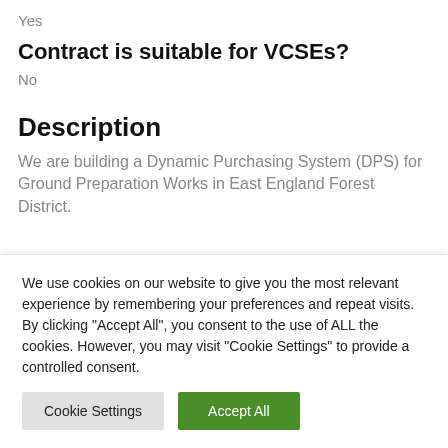Yes
Contract is suitable for VCSEs?
No
Description
We are building a Dynamic Purchasing System (DPS) for Ground Preparation Works in East England Forest District.
We use cookies on our website to give you the most relevant experience by remembering your preferences and repeat visits. By clicking "Accept All", you consent to the use of ALL the cookies. However, you may visit "Cookie Settings" to provide a controlled consent.